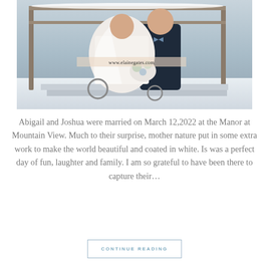[Figure (photo): Wedding photo of Abigail and Joshua. The bride sits in a wheelchair wearing a white lace gown and holding a bouquet of white and blue flowers. The groom stands behind her in a dark navy suit. They are outdoors in a snowy winter setting. A watermark reads www.elainegates.com.]
Abigail and Joshua were married on March 12,2022 at the Manor at Mountain View. Much to their surprise, mother nature put in some extra work to make the world beautiful and coated in white. Is was a perfect day of fun, laughter and family. I am so grateful to have been there to capture their…
CONTINUE READING